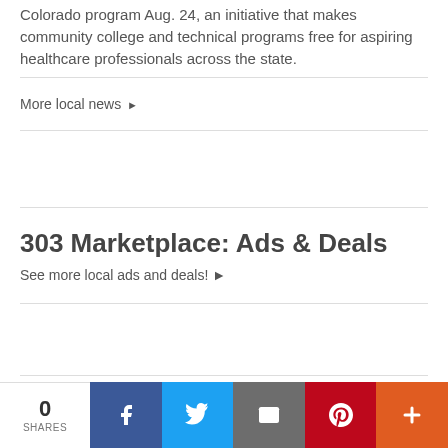Colorado program Aug. 24, an initiative that makes community college and technical programs free for aspiring healthcare professionals across the state.
More local news ▶
303 Marketplace: Ads & Deals
See more local ads and deals! ▶
Sports
More sports ▶
0 SHARES | Facebook | Twitter | Email | Pinterest | More